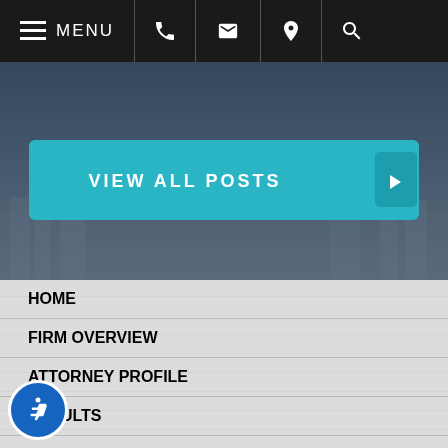MENU
VIEW ALL POSTS
HOME
FIRM OVERVIEW
ATTORNEY PROFILE
RESULTS
NEWSLETTER
PERSONAL INJURY
LINKS